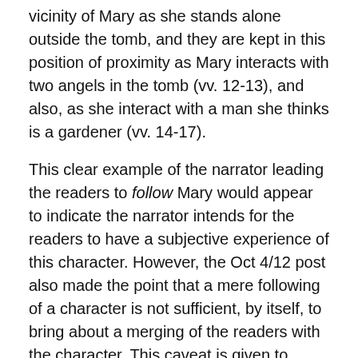vicinity of Mary as she stands alone outside the tomb, and they are kept in this position of proximity as Mary interacts with two angels in the tomb (vv. 12-13), and also, as she interact with a man she thinks is a gardener (vv. 14-17).
This clear example of the narrator leading the readers to follow Mary would appear to indicate the narrator intends for the readers to have a subjective experience of this character. However, the Oct 4/12 post also made the point that a mere following of a character is not sufficient, by itself, to bring about a merging of the readers with the character. This caveat is given to account for the case of an ‘enigma,’ that is, a character to whom readers are given amble exposure, but from whom they are kept at arm’s length by means of a lack of access to the character’s thoughts and reasons behind their actions, thus rendering the character a mystery to the readers.